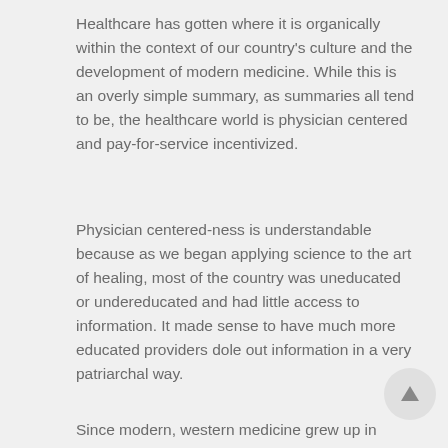Healthcare has gotten where it is organically within the context of our country's culture and the development of modern medicine. While this is an overly simple summary, as summaries all tend to be, the healthcare world is physician centered and pay-for-service incentivized.
Physician centered-ness is understandable because as we began applying science to the art of healing, most of the country was uneducated or undereducated and had little access to information. It made sense to have much more educated providers dole out information in a very patriarchal way.
Since modern, western medicine grew up in